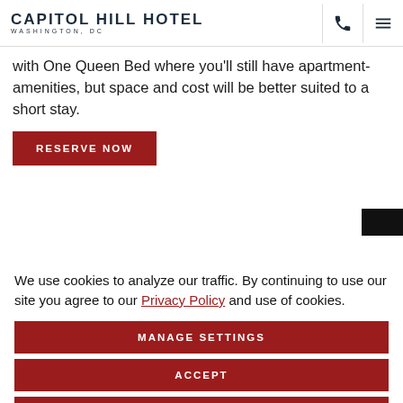CAPITOL HILL HOTEL WASHINGTON, DC
with One Queen Bed where you'll still have apartment-amenities, but space and cost will be better suited to a short stay.
RESERVE NOW
We use cookies to analyze our traffic. By continuing to use our site you agree to our Privacy Policy and use of cookies.
MANAGE SETTINGS
ACCEPT
DECLINE ALL
PRIVACY POLICY